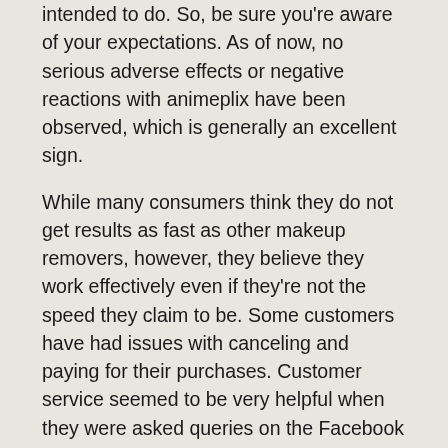intended to do. So, be sure you're aware of your expectations. As of now, no serious adverse effects or negative reactions with animeplix have been observed, which is generally an excellent sign.
While many consumers think they do not get results as fast as other makeup removers, however, they believe they work effectively even if they’re not the speed they claim to be. Some customers have had issues with canceling and paying for their purchases. Customer service seemed to be very helpful when they were asked queries on the Facebook pages. Be aware of this when making your final selection Applob.
Conclusion
An Apk of AniMixPlay that is available to Android is a very popular application to stream and download anime. It lets you stream the show without interruptions. It permits you